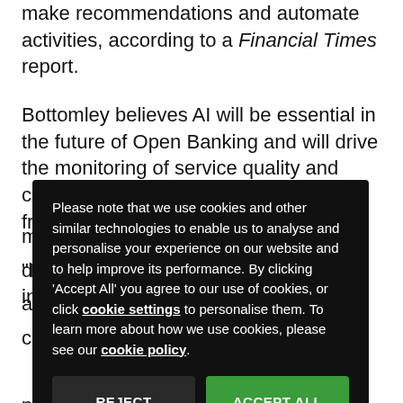make recommendations and automate activities, according to a Financial Times report.
Bottomley believes AI will be essential in the future of Open Banking and will drive the monitoring of service quality and connectivity, as well as help manage fraud issues.
“I would highlight the use of artificial intelligence and m... d... a... c... p...
Please note that we use cookies and other similar technologies to enable us to analyse and personalise your experience on our website and to help improve its performance. By clicking ‘Accept All’ you agree to our use of cookies, or click cookie settings to personalise them. To learn more about how we use cookies, please see our cookie policy.